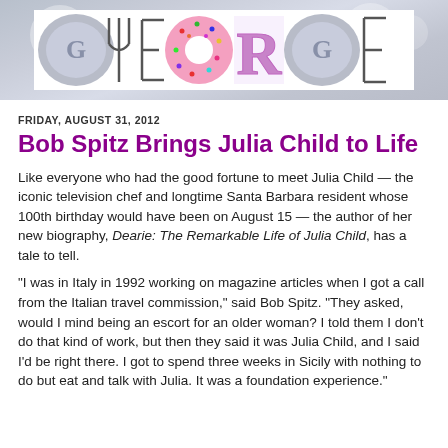[Figure (logo): GEORGE blog header banner with stylized letters G, E, O (donut), R (mosaic), G, E formed from kitchen/food objects like forks, plates, and colorful toppings on white background]
FRIDAY, AUGUST 31, 2012
Bob Spitz Brings Julia Child to Life
Like everyone who had the good fortune to meet Julia Child — the iconic television chef and longtime Santa Barbara resident whose 100th birthday would have been on August 15 — the author of her new biography, Dearie: The Remarkable Life of Julia Child, has a tale to tell.
“I was in Italy in 1992 working on magazine articles when I got a call from the Italian travel commission,” said Bob Spitz. “They asked, would I mind being an escort for an older woman? I told them I don’t do that kind of work, but then they said it was Julia Child, and I said I’d be right there. I got to spend three weeks in Sicily with nothing to do but eat and talk with Julia. It was a foundation experience.”